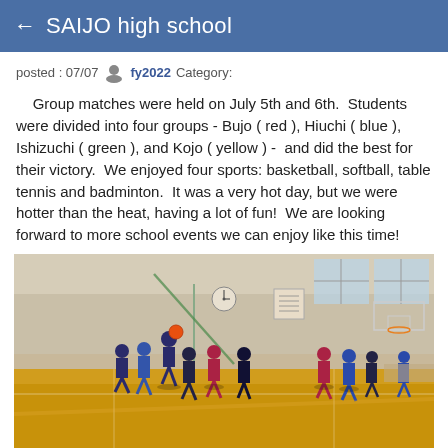← SAIJO high school
posted : 07/07  fy2022  Category:
Group matches were held on July 5th and 6th.  Students were divided into four groups - Bujo ( red ), Hiuchi ( blue ), Ishizuchi ( green ), and Kojo ( yellow ) -  and did the best for their victory.  We enjoyed four sports: basketball, softball, table tennis and badminton.  It was a very hot day, but we were hotter than the heat, having a lot of fun!  We are looking forward to more school events we can enjoy like this time!
[Figure (photo): Students playing basketball in a school gymnasium with wooden floors. Players in blue and dark uniforms are visible. The gym has high ceilings with windows, a basketball hoop, and a clock on the wall.]